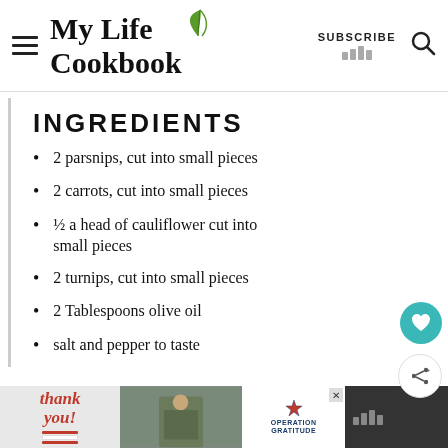My Life Cookbook — SUBSCRIBE
INGREDIENTS
2 parsnips, cut into small pieces
2 carrots, cut into small pieces
½ a head of cauliflower cut into small pieces
2 turnips, cut into small pieces
2 Tablespoons olive oil
salt and pepper to taste
Thank you! OPERATION GRATITUDE advertisement